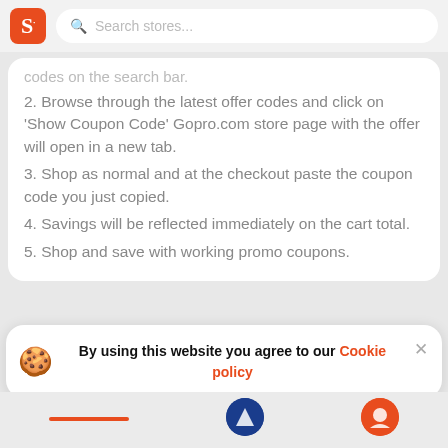S — Search stores...
codes on the search bar.
2. Browse through the latest offer codes and click on 'Show Coupon Code' Gopro.com store page with the offer will open in a new tab.
3. Shop as normal and at the checkout paste the coupon code you just copied.
4. Savings will be reflected immediately on the cart total.
5. Shop and save with working promo coupons.
By using this website you agree to our Cookie policy